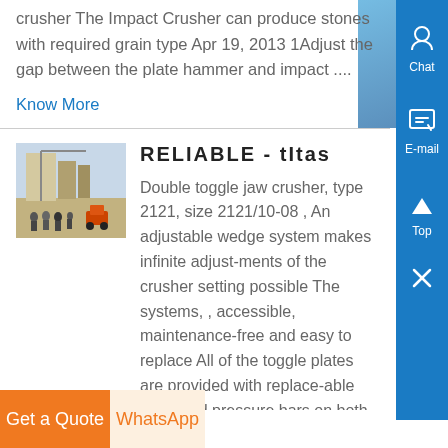crusher The Impact Crusher can produce stones with required grain type Apr 19, 2013 1Adjust the gap between the plate hammer and impact ....
Know More
RELIABLE - tItas
[Figure (photo): Outdoor photo of industrial crushing equipment with a group of people standing in front, construction site background]
Double toggle jaw crusher, type 2121, size 2121/10-08 , An adjustable wedge system makes infinite adjust-ments of the crusher setting possible The systems, , accessible, maintenance-free and easy to replace All of the toggle plates are provided with replace-able tempered pressure bars on both sides